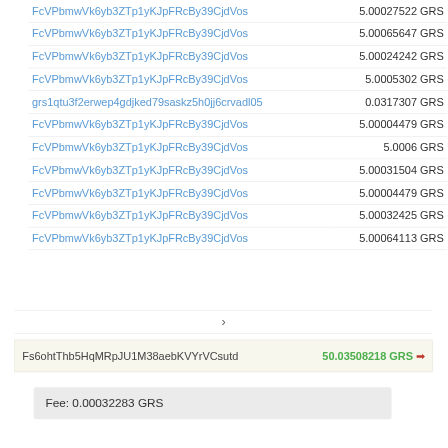| Address | Amount |
| --- | --- |
| FcVPbmwVk6yb3ZTp1yKJpFRcBy39CjdVos | 5.00027522 GRS |
| FcVPbmwVk6yb3ZTp1yKJpFRcBy39CjdVos | 5.00065647 GRS |
| FcVPbmwVk6yb3ZTp1yKJpFRcBy39CjdVos | 5.00024242 GRS |
| FcVPbmwVk6yb3ZTp1yKJpFRcBy39CjdVos | 5.0005302 GRS |
| grs1qtu3f2erwep4gdjked79saskz5h0jj6crvadl05 | 0.0317307 GRS |
| FcVPbmwVk6yb3ZTp1yKJpFRcBy39CjdVos | 5.00004479 GRS |
| FcVPbmwVk6yb3ZTp1yKJpFRcBy39CjdVos | 5.0006 GRS |
| FcVPbmwVk6yb3ZTp1yKJpFRcBy39CjdVos | 5.00031504 GRS |
| FcVPbmwVk6yb3ZTp1yKJpFRcBy39CjdVos | 5.00004479 GRS |
| FcVPbmwVk6yb3ZTp1yKJpFRcBy39CjdVos | 5.00032425 GRS |
| FcVPbmwVk6yb3ZTp1yKJpFRcBy39CjdVos | 5.00064113 GRS |
›
Fs6ohtThb5HqMRpJU1M38aebKVYrVCsutd  50.03508218 GRS →
Fee: 0.00032283 GRS